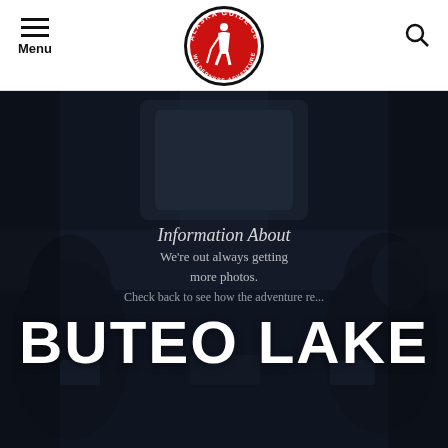[Figure (logo): Alaska Guide Co Wilderness Adventures circular logo with red background and white hiker silhouette]
Menu  [Alaska Guide Co logo]  [Search icon]
[Figure (photo): Dark cockpit interior photo used as hero background image]
Information About
We're out always getting more photos. Check back to see how the adventure re...
BUTEO LAKE